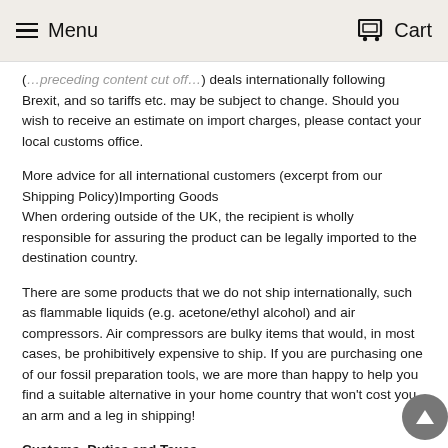Menu  Cart
deals internationally following Brexit, and so tariffs etc. may be subject to change. Should you wish to receive an estimate on import charges, please contact your local customs office.
More advice for all international customers (excerpt from our Shipping Policy)Importing Goods
When ordering outside of the UK, the recipient is wholly responsible for assuring the product can be legally imported to the destination country.
There are some products that we do not ship internationally, such as flammable liquids (e.g. acetone/ethyl alcohol) and air compressors. Air compressors are bulky items that would, in most cases, be prohibitively expensive to ship. If you are purchasing one of our fossil preparation tools, we are more than happy to help you find a suitable alternative in your home country that won't cost you an arm and a leg in shipping!
Customs, Duties and Taxes
The recipient is the importer of record and must comply with all laws and regulations of the destination country. The recipient of an international shipment may be subject to import taxes, customs duties and